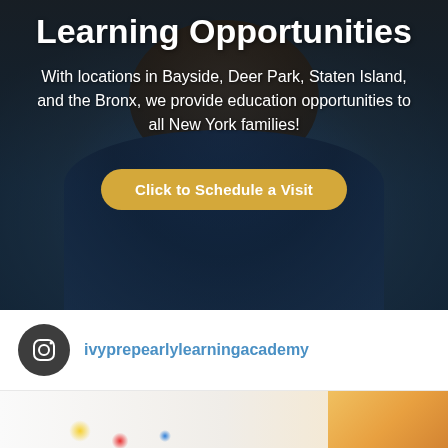[Figure (photo): Child wearing a dark blue patterned shirt, hero background image with dark overlay]
Learning Opportunities
With locations in Bayside, Deer Park, Staten Island, and the Bronx, we provide education opportunities to all New York families!
Click to Schedule a Visit
ivyprepearlylearningacademy
[Figure (photo): Partial photo of early learning classroom materials including colorful rings and wooden objects]
Learn more about Ivy Prep. Call Now 347-835-2176